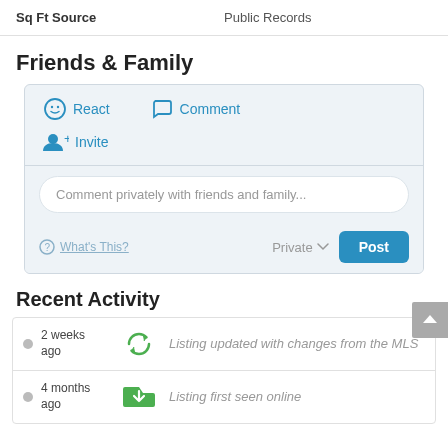| Sq Ft Source | Public Records |
| --- | --- |
Friends & Family
React  Comment  Invite
Comment privately with friends and family...
What's This?  Private  Post
Recent Activity
2 weeks ago — Listing updated with changes from the MLS
4 months ago — Listing first seen online